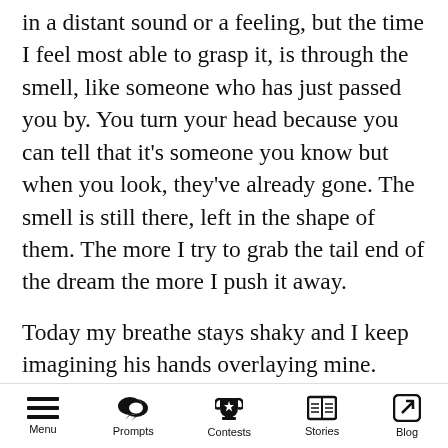in a distant sound or a feeling, but the time I feel most able to grasp it, is through the smell, like someone who has just passed you by. You turn your head because you can tell that it's someone you know but when you look, they've already gone. The smell is still there, left in the shape of them. The more I try to grab the tail end of the dream the more I push it away.
Today my breathe stays shaky and I keep imagining his hands overlaying mine. Everything in the kitchen now feels overwhelming. I look around to calm myself, but it all reminds me of him today. The wood paneling by the stove is the
Menu  Prompts  Contests  Stories  Blog